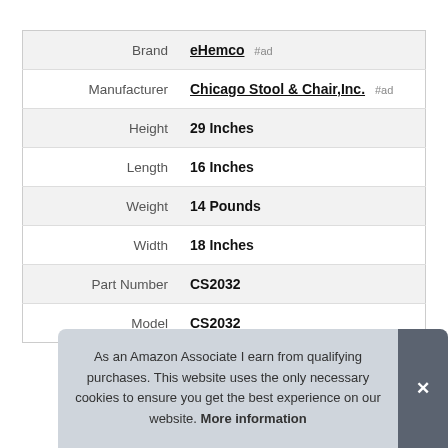|  |  |
| --- | --- |
| Brand | eHemco #ad |
| Manufacturer | Chicago Stool & Chair,Inc. #ad |
| Height | 29 Inches |
| Length | 16 Inches |
| Weight | 14 Pounds |
| Width | 18 Inches |
| Part Number | CS2032 |
| Model | CS2032 |
As an Amazon Associate I earn from qualifying purchases. This website uses the only necessary cookies to ensure you get the best experience on our website. More information